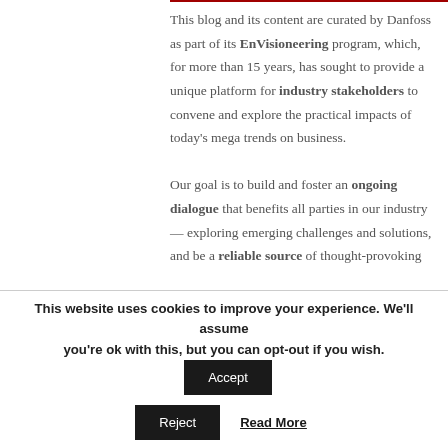This blog and its content are curated by Danfoss as part of its EnVisioneering program, which, for more than 15 years, has sought to provide a unique platform for industry stakeholders to convene and explore the practical impacts of today's mega trends on business.

Our goal is to build and foster an ongoing dialogue that benefits all parties in our industry — exploring emerging challenges and solutions, and be a reliable source of thought-provoking
This website uses cookies to improve your experience. We'll assume you're ok with this, but you can opt-out if you wish.